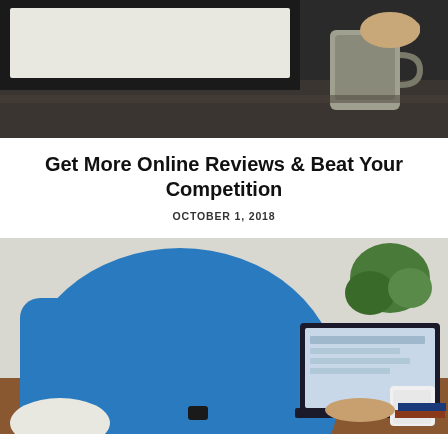[Figure (photo): Top-cropped photo showing a laptop on a desk with a grey coffee mug and a hand, dark moody lighting]
Get More Online Reviews & Beat Your Competition
OCTOBER 1, 2018
[Figure (photo): Person wearing a bright blue sweater seated at a wooden desk, typing on a laptop, with a white coffee mug and plant in the background]
How to Choose the Best Digital Marketing